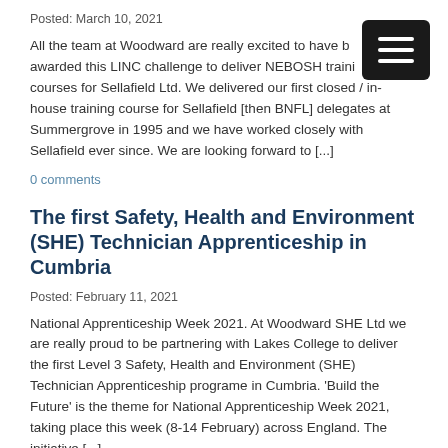Posted: March 10, 2021
All the team at Woodward are really excited to have been awarded this LINC challenge to deliver NEBOSH training courses for Sellafield Ltd. We delivered our first closed / in-house training course for Sellafield [then BNFL] delegates at Summergrove in 1995 and we have worked closely with Sellafield ever since. We are looking forward to [...]
0 comments
The first Safety, Health and Environment (SHE) Technician Apprenticeship in Cumbria
Posted: February 11, 2021
National Apprenticeship Week 2021. At Woodward SHE Ltd we are really proud to be partnering with Lakes College to deliver the first Level 3 Safety, Health and Environment (SHE) Technician Apprenticeship programe in Cumbria. 'Build the Future' is the theme for National Apprenticeship Week 2021, taking place this week (8-14 February) across England. The initiative [...]